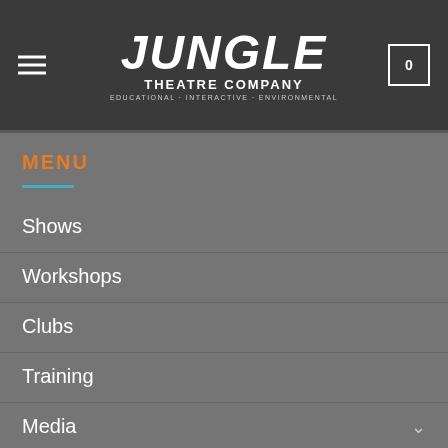Jungle Theatre Company - Educational-Interactive-Environmental
MENU
Shows
Workshops
Clubs
Training
Media
CONTACT US